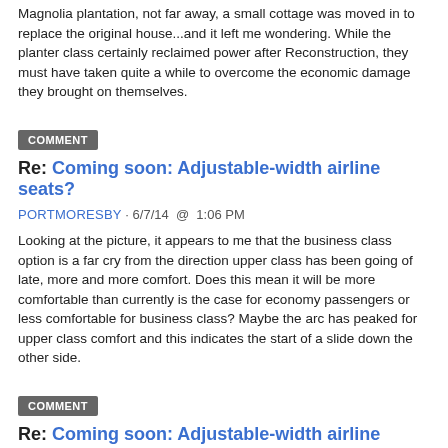Magnolia plantation, not far away, a small cottage was moved in to replace the original house...and it left me wondering. While the planter class certainly reclaimed power after Reconstruction, they must have taken quite a while to overcome the economic damage they brought on themselves.
COMMENT
Re: Coming soon: Adjustable-width airline seats?
PORTMORESBY · 6/7/14 @ 1:06 PM
Looking at the picture, it appears to me that the business class option is a far cry from the direction upper class has been going of late, more and more comfort. Does this mean it will be more comfortable than currently is the case for economy passengers or less comfortable for business class? Maybe the arc has peaked for upper class comfort and this indicates the start of a slide down the other side.
COMMENT
Re: Coming soon: Adjustable-width airline seats?
DRFUMBLEFINGER · 6/7/14 @ 1:11 PM
I would presume the wider seat arrangement would more likely be